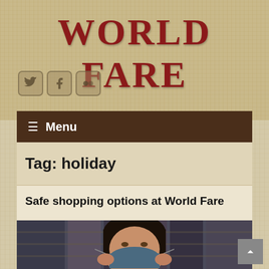WORLD FARE
[Figure (other): Social media icons: Twitter bird, Facebook F, Flickr double circles]
≡ Menu
Tag: holiday
Safe shopping options at World Fare
[Figure (photo): Woman adjusting a face mask, with shelves of products in the background]